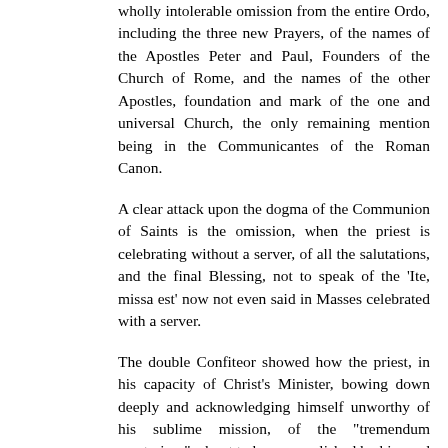wholly intolerable omission from the entire Ordo, including the three new Prayers, of the names of the Apostles Peter and Paul, Founders of the Church of Rome, and the names of the other Apostles, foundation and mark of the one and universal Church, the only remaining mention being in the Communicantes of the Roman Canon.
A clear attack upon the dogma of the Communion of Saints is the omission, when the priest is celebrating without a server, of all the salutations, and the final Blessing, not to speak of the 'Ite, missa est' now not even said in Masses celebrated with a server.
The double Confiteor showed how the priest, in his capacity of Christ's Minister, bowing down deeply and acknowledging himself unworthy of his sublime mission, of the "tremendum mysterium", about to be accomplished by him and even (in the Aufer a nobis) entering into the Holy of Holies, invoked the intercession (in the Oramus te, Domine) of the merits of the martyrs whose relics were sealed in the altar. Both these prayers have been suppressed; what has been said previously in respect of the double Confiteor and the double Communion is equally relevant here.